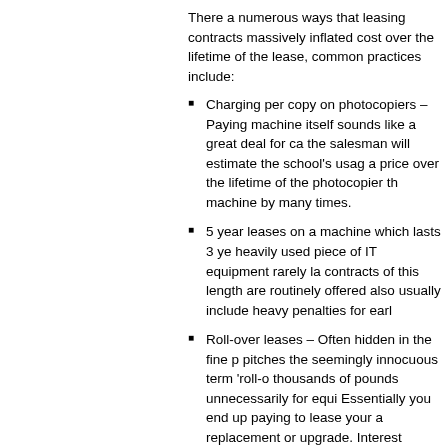There a numerous ways that leasing contracts massively inflated cost over the lifetime of the lease, common practices include:
Charging per copy on photocopiers – Paying machine itself sounds like a great deal for ca... the salesman will estimate the school's usage a price over the lifetime of the photocopier th... machine by many times.
5 year leases on a machine which lasts 3 ye... heavily used piece of IT equipment rarely la... contracts of this length are routinely offered also usually include heavy penalties for earl...
Roll-over leases – Often hidden in the fine p... pitches the seemingly innocuous term 'roll-o... thousands of pounds unnecessarily for equi... Essentially you end up paying to lease your a replacement or upgrade. Interest charged leads to huge settlement fees.
Charging RRP – Public sector buyers shoul... price for IT equipment. Discounts of as muc...
Refinance deals – Refinancing old equipme...